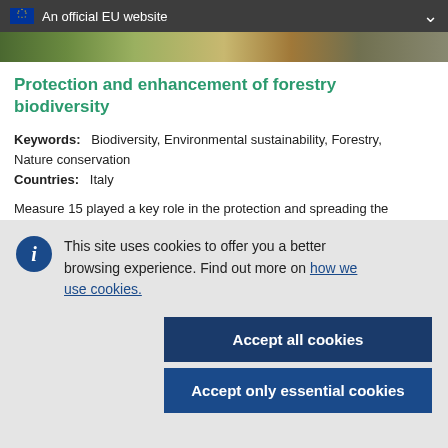An official EU website
[Figure (photo): Cropped landscape/forestry image strip]
Protection and enhancement of forestry biodiversity
Keywords: Biodiversity, Environmental sustainability, Forestry, Nature conservation
Countries: Italy
Measure 15 played a key role in the protection and spreading the
This site uses cookies to offer you a better browsing experience. Find out more on how we use cookies.
Accept all cookies
Accept only essential cookies